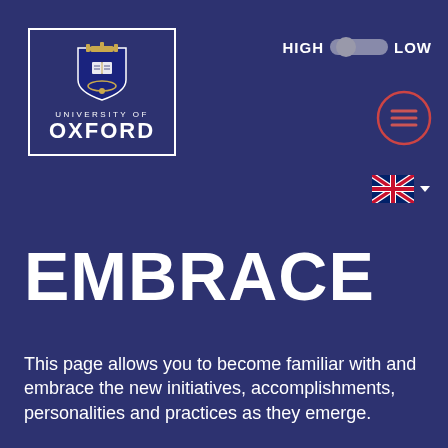[Figure (logo): University of Oxford crest logo with white border, showing shield crest, 'UNIVERSITY OF' and 'OXFORD' text]
[Figure (infographic): HIGH to LOW toggle switch control with grey pill/slider shape, on dark navy background]
[Figure (infographic): Hamburger menu icon inside a red circle outline]
[Figure (infographic): UK flag (Union Jack) with dropdown arrow for language selection]
EMBRACE
This page allows you to become familiar with and embrace the new initiatives, accomplishments, personalities and practices as they emerge.